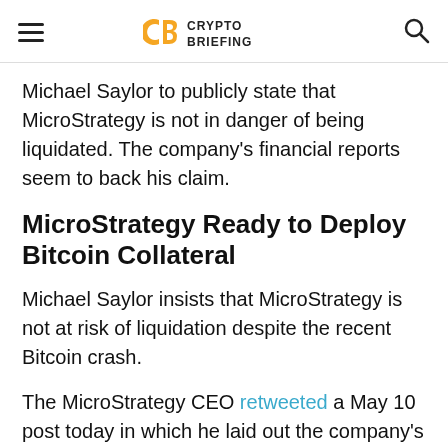Crypto Briefing
Michael Saylor to publicly state that MicroStrategy is not in danger of being liquidated. The company's financial reports seem to back his claim.
MicroStrategy Ready to Deploy Bitcoin Collateral
Michael Saylor insists that MicroStrategy is not at risk of liquidation despite the recent Bitcoin crash.
The MicroStrategy CEO retweeted a May 10 post today in which he laid out the company's financial situation. In the original post, MicroStrategy claimed that it would